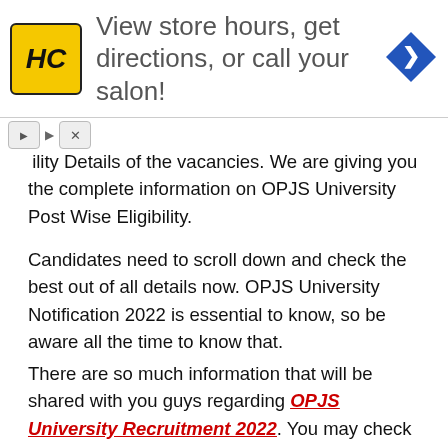[Figure (other): Advertisement banner with HC logo, text 'View store hours, get directions, or call your salon!' and a blue diamond-shaped direction arrow icon]
ility Details of the vacancies. We are giving you the complete information on OPJS University Post Wise Eligibility.
Candidates need to scroll down and check the best out of all details now. OPJS University Notification 2022 is essential to know, so be aware all the time to know that.
There are so much information that will be shared with you guys regarding OPJS University Recruitment 2022. You may check updates from here only.